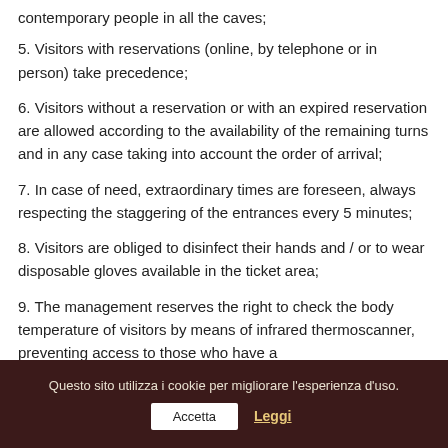contemporary people in all the caves;
5. Visitors with reservations (online, by telephone or in person) take precedence;
6. Visitors without a reservation or with an expired reservation are allowed according to the availability of the remaining turns and in any case taking into account the order of arrival;
7. In case of need, extraordinary times are foreseen, always respecting the staggering of the entrances every 5 minutes;
8. Visitors are obliged to disinfect their hands and / or to wear disposable gloves available in the ticket area;
9. The management reserves the right to check the body temperature of visitors by means of infrared thermoscanner, preventing access to those who have a
Questo sito utilizza i cookie per migliorare l'esperienza d'uso.
Accetta
Leggi